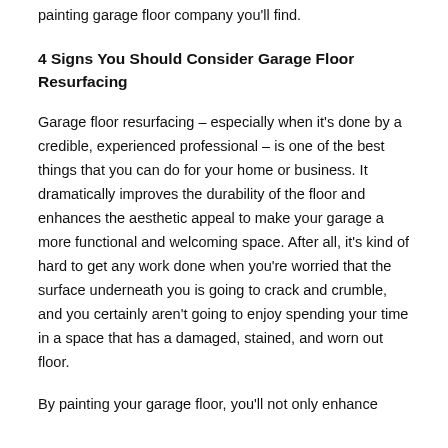painting garage floor company you'll find.
4 Signs You Should Consider Garage Floor Resurfacing
Garage floor resurfacing – especially when it's done by a credible, experienced professional – is one of the best things that you can do for your home or business. It dramatically improves the durability of the floor and enhances the aesthetic appeal to make your garage a more functional and welcoming space. After all, it's kind of hard to get any work done when you're worried that the surface underneath you is going to crack and crumble, and you certainly aren't going to enjoy spending your time in a space that has a damaged, stained, and worn out floor.
By painting your garage floor, you'll not only enhance